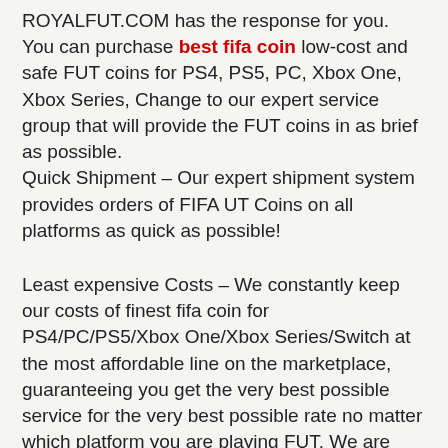ROYALFUT.COM has the response for you. You can purchase best fifa coin low-cost and safe FUT coins for PS4, PS5, PC, Xbox One, Xbox Series, Change to our expert service group that will provide the FUT coins in as brief as possible. Quick Shipment – Our expert shipment system provides orders of FIFA UT Coins on all platforms as quick as possible!
Least expensive Costs – We constantly keep our costs of finest fifa coin for PS4/PC/PS5/Xbox One/Xbox Series/Switch at the most affordable line on the marketplace, guaranteeing you get the very best possible service for the very best possible rate no matter which platform you are playing FUT. We are utilizing Smart ANTI-BAN System 2.0